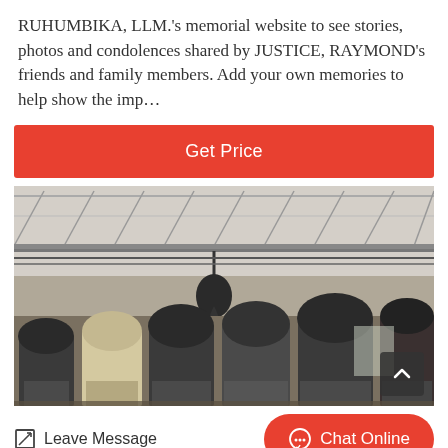RUHUMBIKA, LLM.'s memorial website to see stories, photos and condolences shared by JUSTICE, RAYMOND's friends and family members. Add your own memories to help show the imp…
Get Price
[Figure (photo): Interior of an industrial factory hall with overhead crane hook and multiple large Raymond mill machines (conical grinding mills) in a row. High ceiling with steel trusses and skylights.]
Leave Message
Chat Online